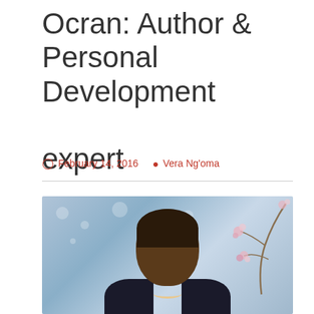Ocran: Author & Personal Development expert
February 14, 2016   Vera Ng'oma
[Figure (photo): Portrait photograph of a smiling African woman with short hair, wearing earrings, against a soft blurred background with floral branch decorations]